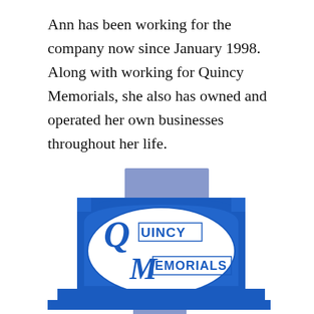Ann has been working for the company now since January 1998. Along with working for Quincy Memorials, she also has owned and operated her own businesses throughout her life.
[Figure (logo): Quincy Memorials logo displayed on a blue memorial/gravestone monument illustration. The logo features a white oval with 'QM' letters and the text 'QUINCY' and 'MEMORIALS' in blue serif font inside decorative rectangles.]